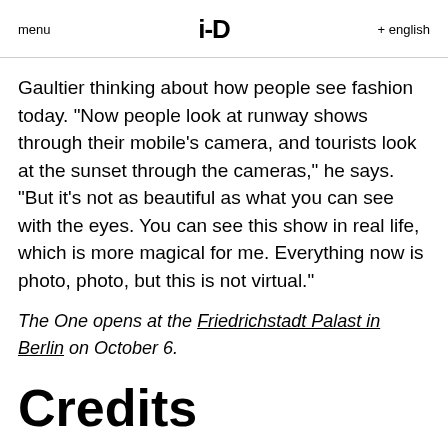menu   i-D   + english
Gaultier thinking about how people see fashion today. "Now people look at runway shows through their mobile's camera, and tourists look at the sunset through the cameras," he says. "But it's not as beautiful as what you can see with the eyes. You can see this show in real life, which is more magical for me. Everything now is photo, photo, but this is not virtual."
The One opens at the Friedrichstadt Palast in Berlin on October 6.
Credits